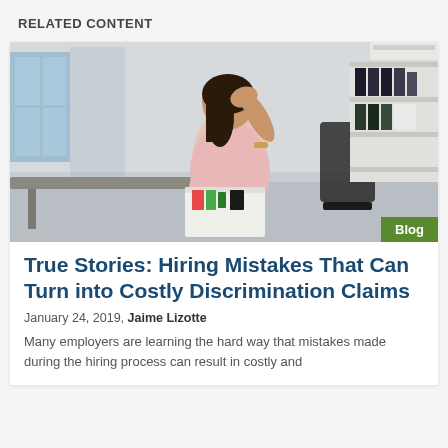RELATED CONTENT
[Figure (photo): Woman in office holding a box of belongings, looking distressed, with bookshelves and office furniture in the background.]
True Stories: Hiring Mistakes That Can Turn into Costly Discrimination Claims
January 24, 2019, Jaime Lizotte
Many employers are learning the hard way that mistakes made during the hiring process can result in costly and